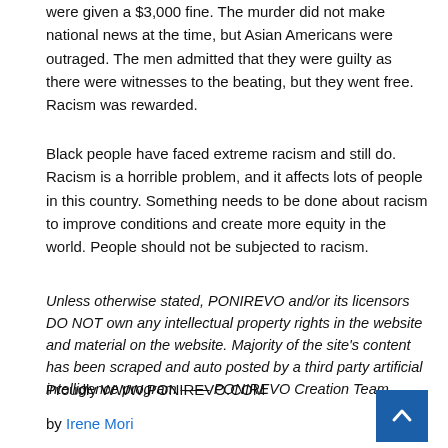were given a $3,000 fine. The murder did not make national news at the time, but Asian Americans were outraged. The men admitted that they were guilty as there were witnesses to the beating, but they went free. Racism was rewarded.
Black people have faced extreme racism and still do. Racism is a horrible problem, and it affects lots of people in this country. Something needs to be done about racism to improve conditions and create more equity in the world. People should not be subjected to racism.
Unless otherwise stated, PONIREVO and/or its licensors DO NOT own any intellectual property rights in the website and material on the website. Majority of the site's content has been scraped and auto posted by a third party artificial intelligence program —— PONIREVO Creation Team.
Proudly WWW.PONIREVO.COM
by Irene Mori